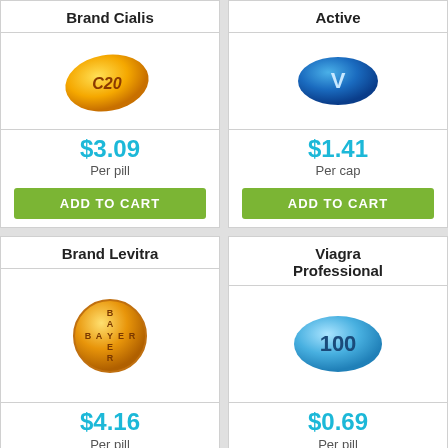Brand Cialis
[Figure (illustration): Orange/yellow oval pill with C20 text]
$3.09 Per pill
ADD TO CART
Active
[Figure (illustration): Blue oval pill with V text]
$1.41 Per cap
ADD TO CART
Brand Levitra
[Figure (illustration): Gold/orange round pill with BAYER text]
$4.16 Per pill
ADD TO CART
Viagra Professional
[Figure (illustration): Light blue oval pill with 100 text]
$0.69 Per pill
ADD TO CART